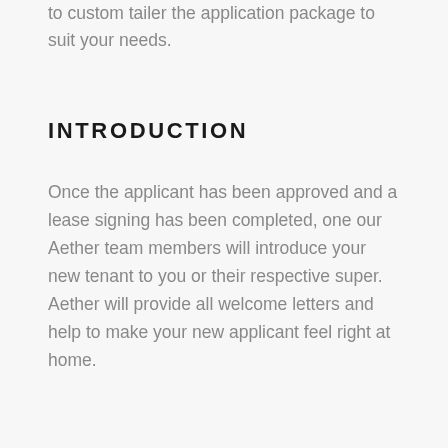Landlord references, we offer the ability to custom tailer the application package to suit your needs.
INTRODUCTION
Once the applicant has been approved and a lease signing has been completed, one our Aether team members will introduce your new tenant to you or their respective super. Aether will provide all welcome letters and help to make your new applicant feel right at home.